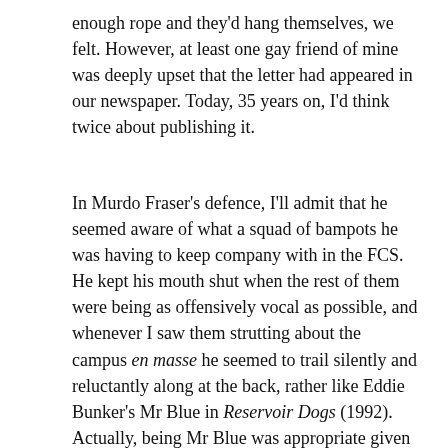enough rope and they'd hang themselves, we felt. However, at least one gay friend of mine was deeply upset that the letter had appeared in our newspaper. Today, 35 years on, I'd think twice about publishing it.
In Murdo Fraser's defence, I'll admit that he seemed aware of what a squad of bampots he was having to keep company with in the FCS.  He kept his mouth shut when the rest of them were being as offensively vocal as possible, and whenever I saw them strutting about the campus en masse he seemed to trail silently and reluctantly along at the back, rather like Eddie Bunker's Mr Blue in Reservoir Dogs (1992).  Actually, being Mr Blue was appropriate given his footballing allegiances.